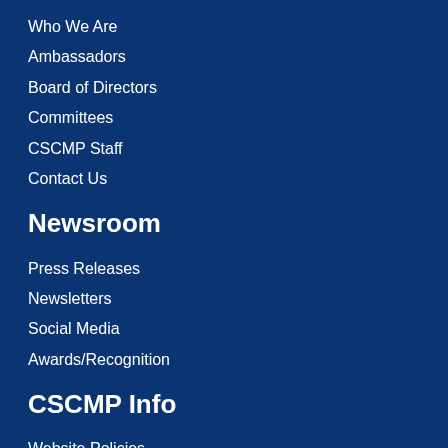Who We Are
Ambassadors
Board of Directors
Committees
CSCMP Staff
Contact Us
Newsroom
Press Releases
Newsletters
Social Media
Awards/Recognition
CSCMP Info
Website Policies
Mobile App